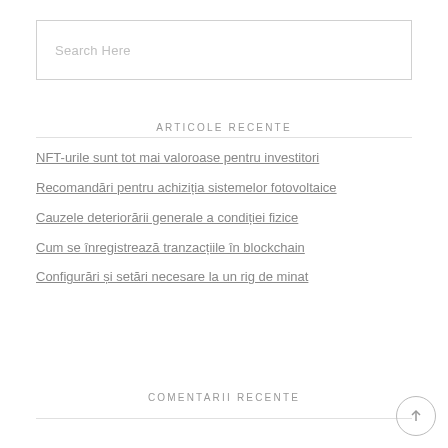Search Here
ARTICOLE RECENTE
NFT-urile sunt tot mai valoroase pentru investitori
Recomandări pentru achiziția sistemelor fotovoltaice
Cauzele deteriorării generale a condiției fizice
Cum se înregistrează tranzacțiile în blockchain
Configurări și setări necesare la un rig de minat
COMENTARII RECENTE